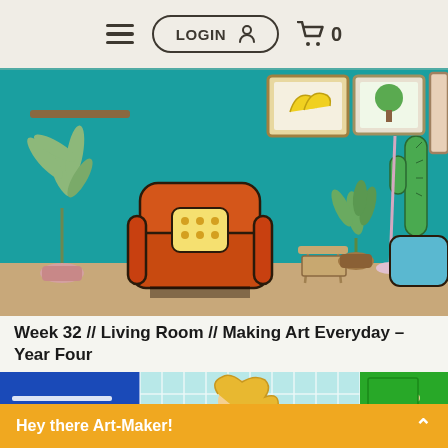LOGIN | 0
[Figure (illustration): Colorful illustration of a living room with a teal/turquoise wall, orange armchair with yellow polka-dot pillow, green leafy plants, framed artwork (bananas, tree, woman with cactus), and a small wooden side table]
Week 32 // Living Room // Making Art Everyday – Year Four
[Figure (illustration): Three-panel image strip showing: left panel blue rectangle, center panel illustration of a girl with blonde wavy hair on a light blue tiled background, right panel green door]
Hey there Art-Maker!